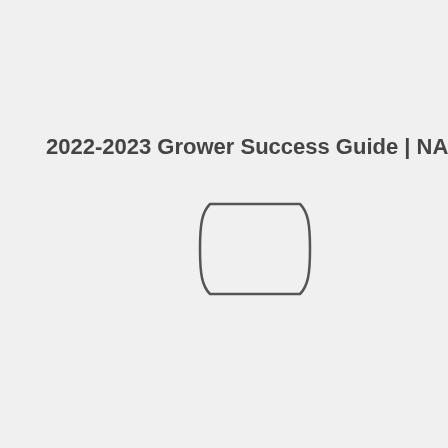2022-2023 Grower Success Guide | NA
[Figure (other): A rounded rectangle outline (photo placeholder icon) with curved sides, drawn in dark gray on a light gray background.]